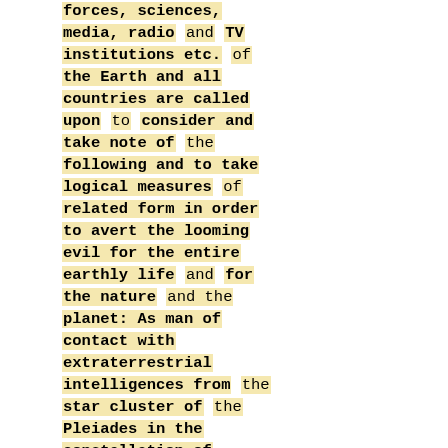forces, sciences, media, radio and TV institutions etc. of the Earth and all countries are called upon to consider and take note of the following and to take logical measures of related form in order to avert the looming evil for the entire earthly life and for the nature and the planet: As man of contact with extraterrestrial intelligences from the star cluster of the Pleiades in the constellation of Taurus, I have been informed that the Earth and all earthly life are threatened by a